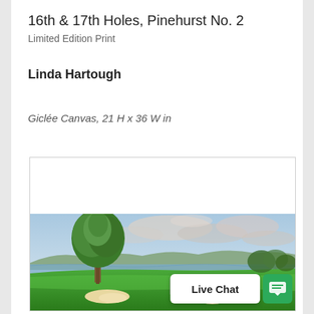16th & 17th Holes, Pinehurst No. 2
Limited Edition Print
Linda Hartough
Giclée Canvas, 21 H x 36 W in
[Figure (photo): Painting of 16th & 17th holes at Pinehurst No. 2 golf course: a large lone tree on green fairway with bunkers, water in background, rolling hills, and dramatic cloudy sky.]
Live Chat